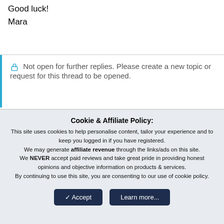Good luck!
Mara
Not open for further replies. Please create a new topic or request for this thread to be opened.
Be a part of the community Get 3 HCA Results
Cookie & Affiliate Policy: This site uses cookies to help personalise content, tailor your experience and to keep you logged in if you have registered. We may generate affiliate revenue through the links/ads on this site. We NEVER accept paid reviews and take great pride in providing honest opinions and objective information on products & services. By continuing to use this site, you are consenting to our use of cookie policy.